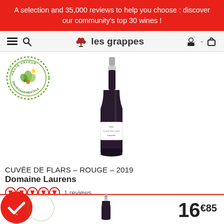A selection and 35,000 reviews to help you choose : discover our community's top 30 wines !
[Figure (screenshot): les grappes website navigation bar with hamburger menu, search icon, grape logo with 'les grappes' text, user and cart icons]
[Figure (photo): HAUTE VALEUR ENVIRONNEMENTALE circular green certification badge]
[Figure (photo): Red wine bottle - Cuvée de Flars rouge 2019 by Domaine Laurens, dark bottle with white label]
CUVÉE DE FLARS – ROUGE – 2019
Domaine Laurens
1 reviews
2019, Sud-Ouest – Marcillac
16€85